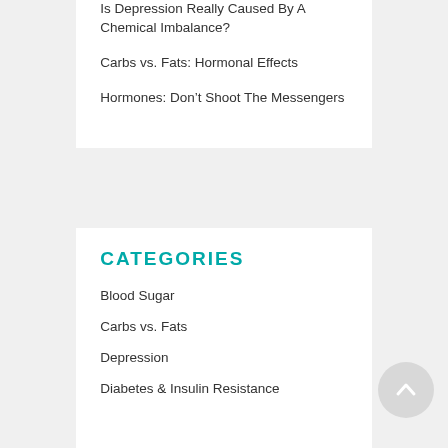Is Depression Really Caused By A Chemical Imbalance?
Carbs vs. Fats: Hormonal Effects
Hormones: Don't Shoot The Messengers
CATEGORIES
Blood Sugar
Carbs vs. Fats
Depression
Diabetes & Insulin Resistance